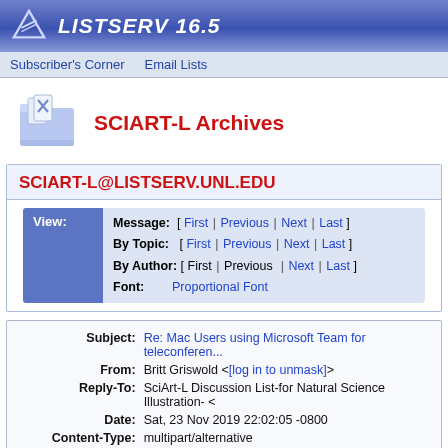LISTSERV 16.5
Subscriber's Corner  Email Lists
SCIART-L Archives
SCIART-L@LISTSERV.UNL.EDU
View: Message: [ First | Previous | Next | Last ] By Topic: [ First | Previous | Next | Last ] By Author: [ First | Previous | Next | Last ] Font: Proportional Font
| Field | Value |
| --- | --- |
| Subject: | Re: Mac Users using Microsoft Team for teleconferencing... |
| From: | Britt Griswold <[log in to unmask]> |
| Reply-To: | SciArt-L Discussion List-for Natural Science Illustration- < |
| Date: | Sat, 23 Nov 2019 22:02:05 -0800 |
| Content-Type: | multipart/alternative |
| Parts/Attachments: | text/plain (51 lines) , text/html (21 lines) |